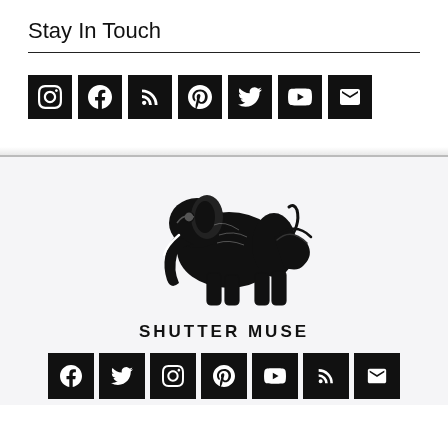Stay In Touch
[Figure (infographic): Row of 7 social media icon buttons (Instagram, Facebook, RSS, Pinterest, Twitter, YouTube, Email) in black squares]
[Figure (logo): Shutter Muse logo: stylized black ink elephant illustration above bold text SHUTTER MUSE, followed by a row of 7 social media icons (Facebook, Twitter, Instagram, Pinterest, YouTube, RSS, Email) in black squares]